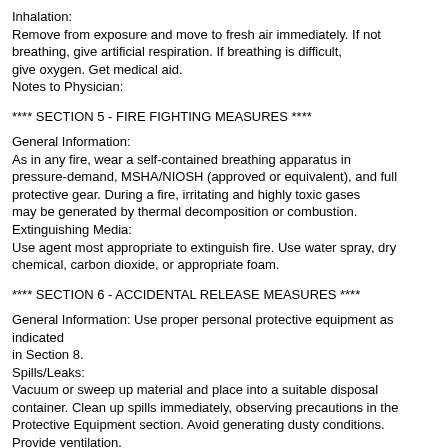Inhalation:
Remove from exposure and move to fresh air immediately. If not breathing, give artificial respiration. If breathing is difficult, give oxygen. Get medical aid.
Notes to Physician:
**** SECTION 5 - FIRE FIGHTING MEASURES ****
General Information:
As in any fire, wear a self-contained breathing apparatus in pressure-demand, MSHA/NIOSH (approved or equivalent), and full protective gear. During a fire, irritating and highly toxic gases may be generated by thermal decomposition or combustion.
Extinguishing Media:
Use agent most appropriate to extinguish fire. Use water spray, dry chemical, carbon dioxide, or appropriate foam.
**** SECTION 6 - ACCIDENTAL RELEASE MEASURES ****
General Information: Use proper personal protective equipment as indicated in Section 8.
Spills/Leaks:
Vacuum or sweep up material and place into a suitable disposal container. Clean up spills immediately, observing precautions in the Protective Equipment section. Avoid generating dusty conditions. Provide ventilation.
**** SECTION 7 - HANDLING and STORAGE ****
Handling:
Wash thoroughly after handling. Remove contaminated clothing and wash before reuse. Use with adequate ventilation. Minimize dust